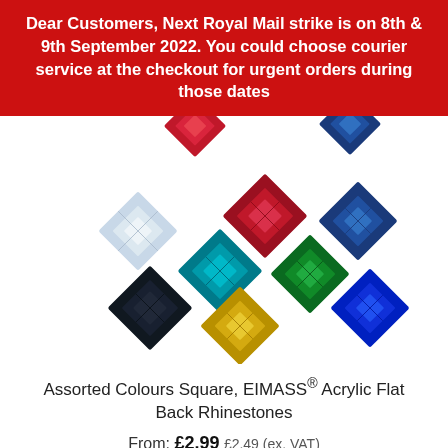Dear Customers, Next Royal Mail strike is on 8th & 9th September 2022. You could choose courier service at the checkout for urgent orders during those dates
[Figure (photo): Photo of assorted coloured square flat-back acrylic rhinestones scattered on a white background. Colours include clear/crystal, red, teal/blue, dark navy, green, royal blue, yellow/gold, and dark red/pink at the top.]
Assorted Colours Square, EIMASS® Acrylic Flat Back Rhinestones
From: £2.99 £2.49 (ex. VAT)